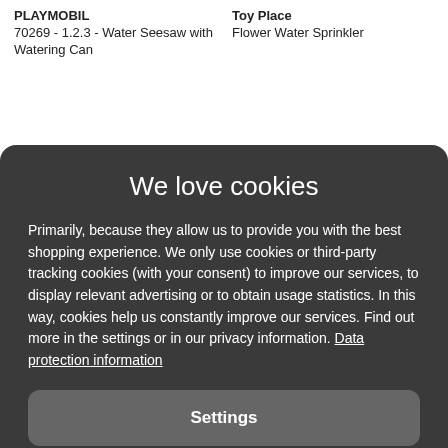PLAYMOBIL
70269 - 1.2.3 - Water Seesaw with Watering Can
Toy Place
Flower Water Sprinkler
We love cookies
Primarily, because they allow us to provide you with the best shopping experience. We only use cookies or third-party tracking cookies (with your consent) to improve our services, to display relevant advertising or to obtain usage statistics. In this way, cookies help us constantly improve our services. Find out more in the settings or in our privacy information. Data protection information
Settings
Reject all
Accept all